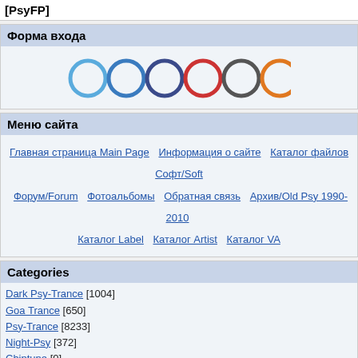[PsyFP]
Форма входа
[Figure (illustration): Six colored circles in a row: light blue, blue, dark blue, red, dark gray, orange]
Меню сайта
Главная страница Main Page  Информация о сайте  Каталог файлов  Софт/Soft  Форум/Forum  Фотоальбомы  Обратная связь  Архив/Old Psy 1990-2010  Каталог Label  Каталог Artist  Каталог VA
Categories
Dark Psy-Trance [1004]
Goa Trance [650]
Psy-Trance [8233]
Night-Psy [372]
Chiptune [0]
Psy-Prog [9880]
Psy-Tech [219]
Ambient [761]
Full On [1629]
Suomi [48]
Label [12]
VA [996]
Artist [16]
WAV - FLAC [40]
Live-DJ Set-Mix [10]
Главная » 2017 » Сентябрь » 18